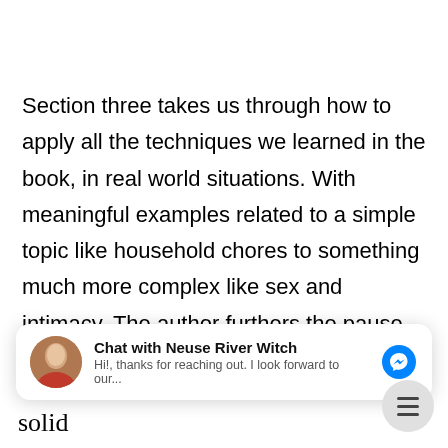Section three takes us through how to apply all the techniques we learned in the book, in real world situations. With meaningful examples related to a simple topic like household chores to something much more complex like sex and intimacy. The author furthers the pause approach by showing us we can apply this same process to friends and family as well as our business part...
[Figure (screenshot): Facebook Messenger chat widget showing 'Chat with Neuse River Witch' with avatar photo of a woman, preview text 'Hi!, thanks for reaching out. I look forward to our...' and blue Messenger icon]
Overall, I believe this book offers some solid